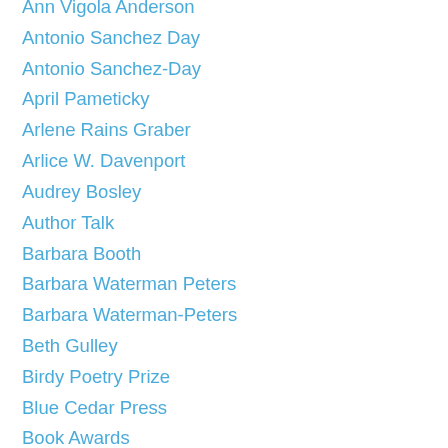Ann Vigola Anderson
Antonio Sanchez Day
Antonio Sanchez-Day
April Pameticky
Arlene Rains Graber
Arlice W. Davenport
Audrey Bosley
Author Talk
Barbara Booth
Barbara Waterman Peters
Barbara Waterman-Peters
Beth Gulley
Birdy Poetry Prize
Blue Cedar Press
Book Awards
Boyd Bauman
Brenda White
Brian Daldorph
Brian Daldorphh
Candace Sherman
Carey Gillam